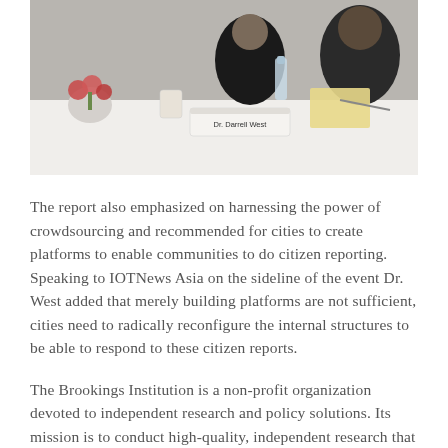[Figure (photo): A photo of people seated at a conference table. A name placard reading 'Dr. Darrell West' is visible on the table, along with flowers, water bottles, and notebooks.]
The report also emphasized on harnessing the power of crowdsourcing and recommended for cities to create platforms to enable communities to do citizen reporting. Speaking to IOTNews Asia on the sideline of the event Dr. West added that merely building platforms are not sufficient, cities need to radically reconfigure the internal structures to be able to respond to these citizen reports.
The Brookings Institution is a non-profit organization devoted to independent research and policy solutions. Its mission is to conduct high-quality, independent research that will help provide innovative, practical recommendations for